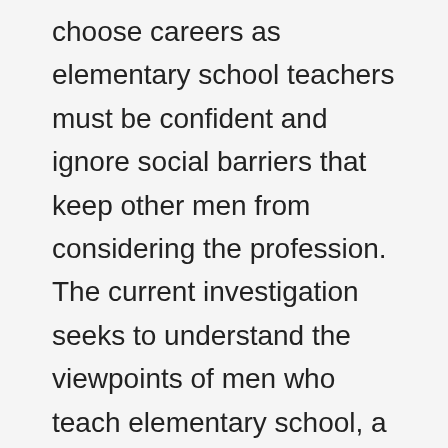choose careers as elementary school teachers must be confident and ignore social barriers that keep other men from considering the profession. The current investigation seeks to understand the viewpoints of men who teach elementary school, a career predominated by women. This was the first known investigation on the topic using Q methodology. Data analysis extracted three distinct viewpoints: the Fixers, the Mentees, and the Aspirants. This study provides the results of data analysis, responds to research questions, and makes recommendations for policy. The findings of this study indicated that men who teach are proud to be role models and make a difference